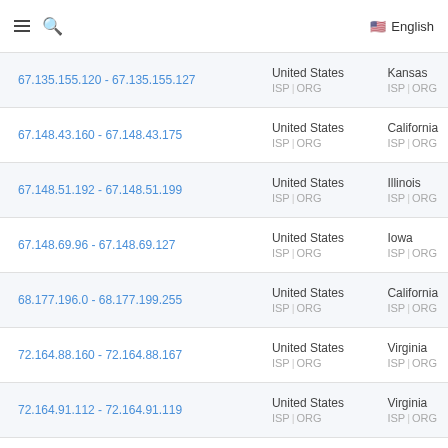≡ 🔍 English
| IP Range | Country | State |
| --- | --- | --- |
| 67.135.155.120 - 67.135.155.127 | United States ISP | ORG | Kansas ISP | ORG |
| 67.148.43.160 - 67.148.43.175 | United States ISP | ORG | California ISP | ORG |
| 67.148.51.192 - 67.148.51.199 | United States ISP | ORG | Illinois ISP | ORG |
| 67.148.69.96 - 67.148.69.127 | United States ISP | ORG | Iowa ISP | ORG |
| 68.177.196.0 - 68.177.199.255 | United States ISP | ORG | California ISP | ORG |
| 72.164.88.160 - 72.164.88.167 | United States ISP | ORG | Virginia ISP | ORG |
| 72.164.91.112 - 72.164.91.119 | United States ISP | ORG | Virginia ISP | ORG |